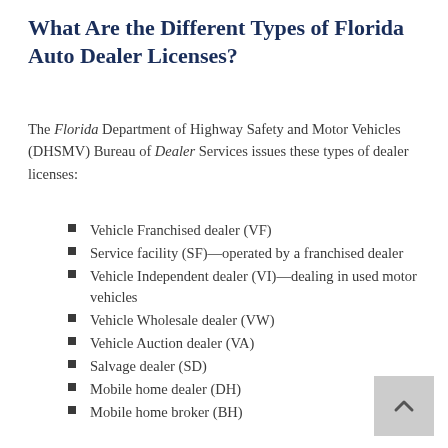What Are the Different Types of Florida Auto Dealer Licenses?
The Florida Department of Highway Safety and Motor Vehicles (DHSMV) Bureau of Dealer Services issues these types of dealer licenses:
Vehicle Franchised dealer (VF)
Service facility (SF)—operated by a franchised dealer
Vehicle Independent dealer (VI)—dealing in used motor vehicles
Vehicle Wholesale dealer (VW)
Vehicle Auction dealer (VA)
Salvage dealer (SD)
Mobile home dealer (DH)
Mobile home broker (BH)